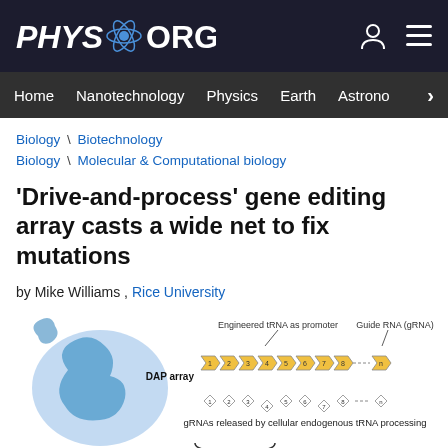PHYS.ORG
Home  Nanotechnology  Physics  Earth  Astronomy >
Biology \ Biotechnology
Biology \ Molecular & Computational biology
'Drive-and-process' gene editing array casts a wide net to fix mutations
by Mike Williams , Rice University
[Figure (illustration): Diagram showing a Base or Prime editor (shown as a blue molecular shape on the left) connected to a DAP array with numbered components (1 through n) represented as yellow chevron/arrow shapes connected in a chain. Above the array is labeled 'Engineered tRNA as promoter' and 'Guide RNA (gRNA)'. Below the array are diamond shapes labeled 1-8 and n representing 'gRNAs released by cellular endogenous tRNA processing'. A curly brace below indicates the full system.]